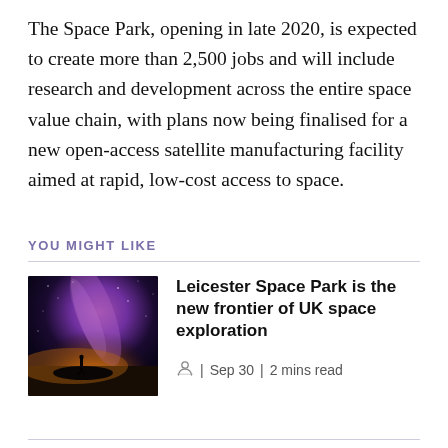The Space Park, opening in late 2020, is expected to create more than 2,500 jobs and will include research and development across the entire space value chain, with plans now being finalised for a new open-access satellite manufacturing facility aimed at rapid, low-cost access to space.
YOU MIGHT LIKE
[Figure (photo): A dark night sky photo showing the Milky Way galaxy in purple/pink tones with a silhouetted person standing on a hill in the foreground, with warm orange glow near the horizon.]
Leicester Space Park is the new frontier of UK space exploration
| Sep 30 | 2 mins read